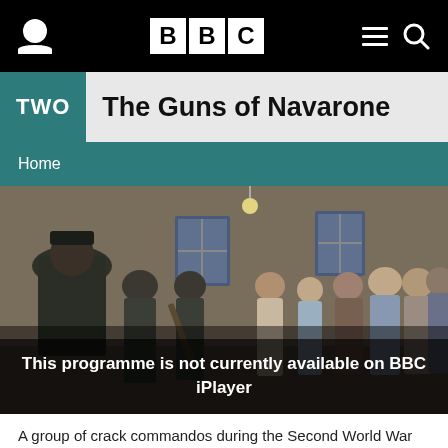BBC TWO - The Guns of Navarone
Home
[Figure (photo): Scene from The Guns of Navarone showing German soldiers with a rifle confronting a group of civilians or prisoners in an interior room setting. Period WWII film still in color.]
This programme is not currently available on BBC iPlayer
A group of crack commandos during the Second World War attempt to destroy the formidable German artillery on the